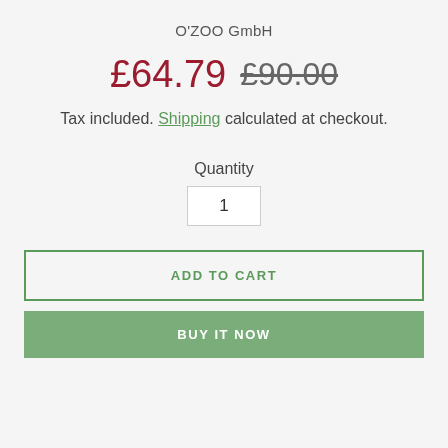O'ZOO GmbH
£64.79  £90.00
Tax included. Shipping calculated at checkout.
Quantity
1
ADD TO CART
BUY IT NOW